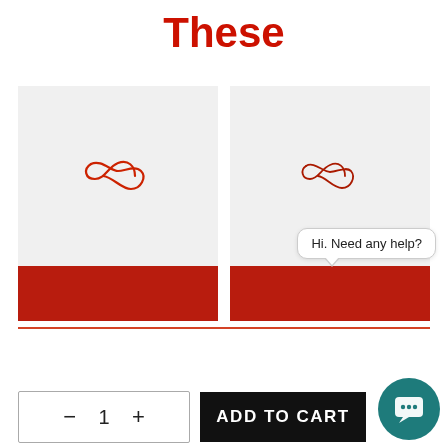These
[Figure (screenshot): Two product cards side by side, each showing a light gray background with a red infinity-style logo symbol in the center and a dark red bar at the bottom. The right card has a chat bubble overlay saying 'Hi. Need any help?' with a teal chat icon below.]
Hi. Need any help?
- 1 + ADD TO CART